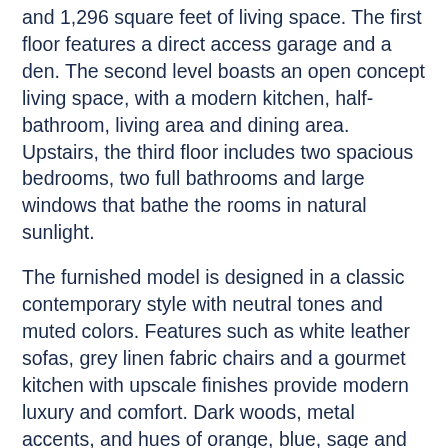and 1,296 square feet of living space. The first floor features a direct access garage and a den. The second level boasts an open concept living space, with a modern kitchen, half-bathroom, living area and dining area. Upstairs, the third floor includes two spacious bedrooms, two full bathrooms and large windows that bathe the rooms in natural sunlight.
The furnished model is designed in a classic contemporary style with neutral tones and muted colors. Features such as white leather sofas, grey linen fabric chairs and a gourmet kitchen with upscale finishes provide modern luxury and comfort. Dark woods, metal accents, and hues of orange, blue, sage and chrome enhance the visual appeal of the living space.
The new furnished Fern model apartment is available for immediate occupancy at the monthly rental rate of $2,800. A small handful of other Fern floorplans are still available as